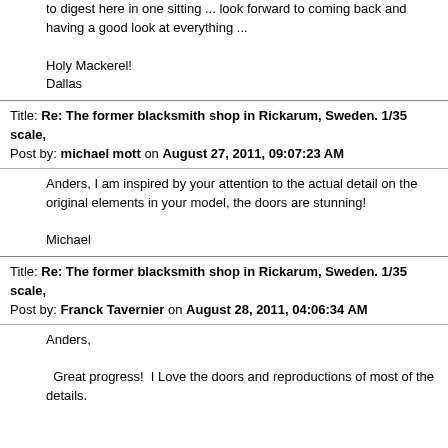to digest here in one sitting ... look forward to coming back and having a good look at everything ...
Holy Mackerel!
Dallas
Title: Re: The former blacksmith shop in Rickarum, Sweden. 1/35 scale,
Post by: michael mott on August 27, 2011, 09:07:23 AM
Anders, I am inspired by your attention to the actual detail on the original elements in your model, the doors are stunning!

Michael
Title: Re: The former blacksmith shop in Rickarum, Sweden. 1/35 scale,
Post by: Franck Tavernier on August 28, 2011, 04:06:34 AM
Anders,

Great progress!  I Love the doors and reproductions of most of the details.


Nice coloring, and shipped paint effect  ;)

Franck